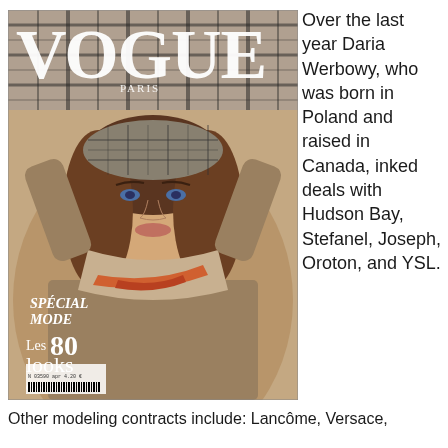[Figure (photo): Vogue Paris magazine cover featuring model Daria Werbowy wearing a plaid hat, beige suede jacket, and colorful scarf. The cover text reads VOGUE PARIS, SPÉCIAL MODE, Les 80 looks essentiels, with a barcode at the bottom.]
Over the last year Daria Werbowy, who was born in Poland and raised in Canada, inked deals with Hudson Bay, Stefanel, Joseph, Oroton, and YSL.
Other modeling contracts include: Lancôme, Versace,